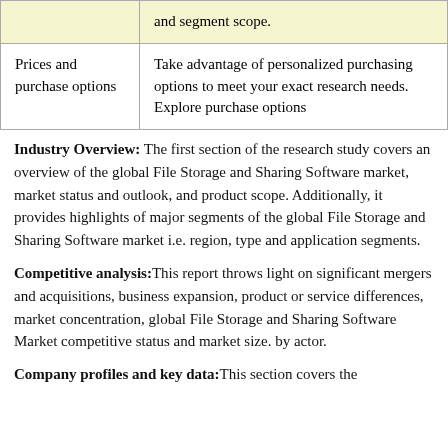|  | and segment scope. |
| Prices and purchase options | Take advantage of personalized purchasing options to meet your exact research needs. Explore purchase options |
Industry Overview: The first section of the research study covers an overview of the global File Storage and Sharing Software market, market status and outlook, and product scope. Additionally, it provides highlights of major segments of the global File Storage and Sharing Software market i.e. region, type and application segments.
Competitive analysis:This report throws light on significant mergers and acquisitions, business expansion, product or service differences, market concentration, global File Storage and Sharing Software Market competitive status and market size. by actor.
Company profiles and key data:This section covers the